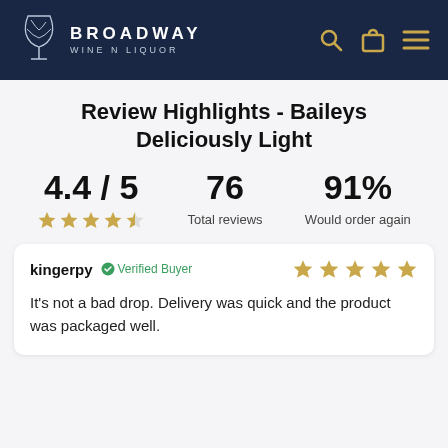Broadway Wine N Liquor
Review Highlights - Baileys Deliciously Light
4.4 / 5 | 76 Total reviews | 91% Would order again
kingerpy — Verified Buyer — It's not a bad drop. Delivery was quick and the product was packaged well.